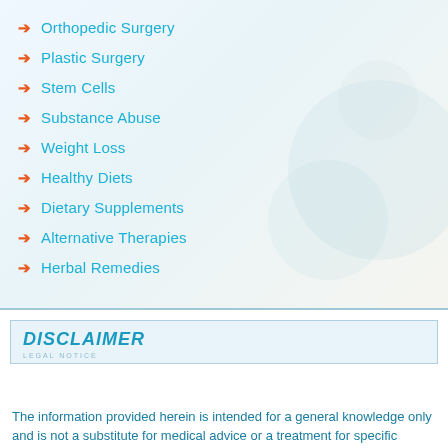Orthopedic Surgery
Plastic Surgery
Stem Cells
Substance Abuse
Weight Loss
Healthy Diets
Dietary Supplements
Alternative Therapies
Herbal Remedies
DISCLAIMER
The information provided herein is intended for a general knowledge only and is not a substitute for medical advice or a treatment for specific